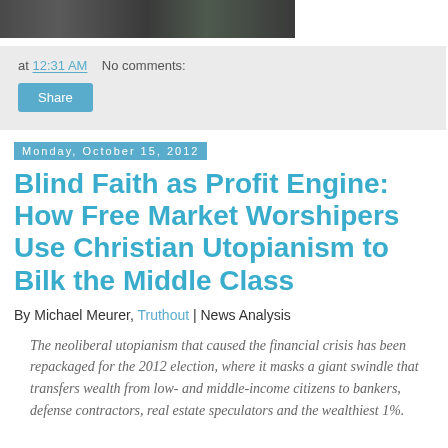[Figure (photo): Dark photographic image strip, partially visible at top of page]
at 12:31 AM   No comments:
Share
Monday, October 15, 2012
Blind Faith as Profit Engine: How Free Market Worshipers Use Christian Utopianism to Bilk the Middle Class
By Michael Meurer, Truthout | News Analysis
The neoliberal utopianism that caused the financial crisis has been repackaged for the 2012 election, where it masks a giant swindle that transfers wealth from low- and middle-income citizens to bankers, defense contractors, real estate speculators and the wealthiest 1%.